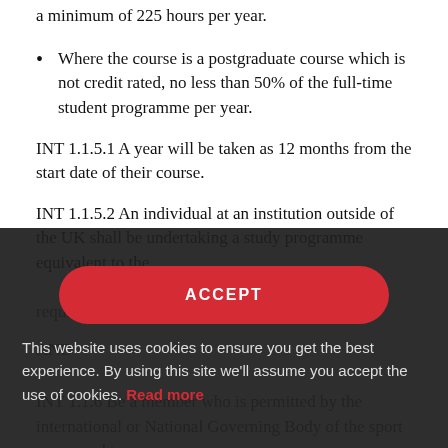a minimum of 225 hours per year.
Where the course is a postgraduate course which is not credit rated, no less than 50% of the full-time student programme per year.
INT 1.1.5.1 A year will be taken as 12 months from the start date of their course.
INT 1.1.5.2 An individual at an institution outside of the UK shall be undertaking a study programme equivalent to the requirements of INT 1.1.5.
AND
INT 1.1.6 Be a member who is permitted by the international or National Governing Body of the sport concerned to
[Figure (screenshot): Cookie consent overlay with red ACCEPT button and cookie usage message with 'Read more' link in red text on dark background]